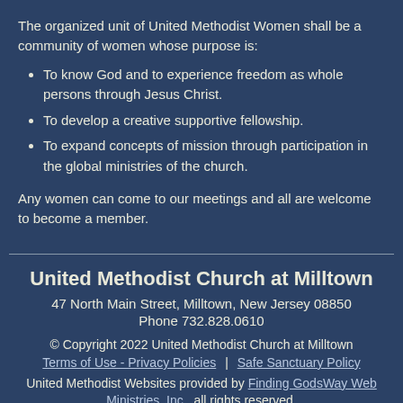The organized unit of United Methodist Women shall be a community of women whose purpose is:
To know God and to experience freedom as whole persons through Jesus Christ.
To develop a creative supportive fellowship.
To expand concepts of mission through participation in the global ministries of the church.
Any women can come to our meetings and all are welcome to become a member.
United Methodist Church at Milltown
47 North Main Street, Milltown, New Jersey 08850
Phone 732.828.0610
© Copyright 2022 United Methodist Church at Milltown
Terms of Use - Privacy Policies | Safe Sanctuary Policy
United Methodist Websites provided by Finding GodsWay Web Ministries, Inc., all rights reserved.